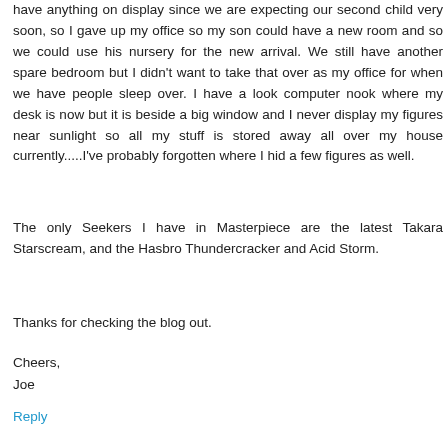have anything on display since we are expecting our second child very soon, so I gave up my office so my son could have a new room and so we could use his nursery for the new arrival. We still have another spare bedroom but I didn't want to take that over as my office for when we have people sleep over. I have a look computer nook where my desk is now but it is beside a big window and I never display my figures near sunlight so all my stuff is stored away all over my house currently.....I've probably forgotten where I hid a few figures as well.
The only Seekers I have in Masterpiece are the latest Takara Starscream, and the Hasbro Thundercracker and Acid Storm.
Thanks for checking the blog out.
Cheers,
Joe
Reply